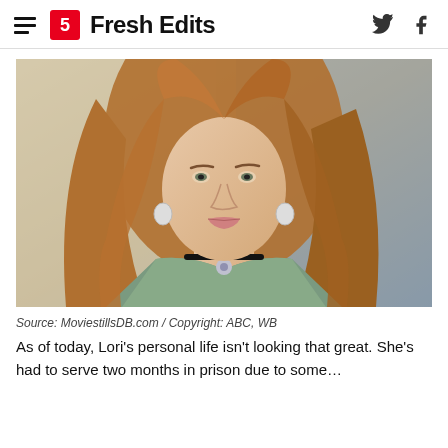Fresh Edits
[Figure (photo): Portrait photo of a woman with long auburn wavy hair, wearing a green patterned jacket and black choker necklace with a pendant. Background is light beige and grey.]
Source: MoviestillsDB.com / Copyright: ABC, WB
As of today, Lori's personal life isn't looking that great. She's had to serve two months in prison due to some…